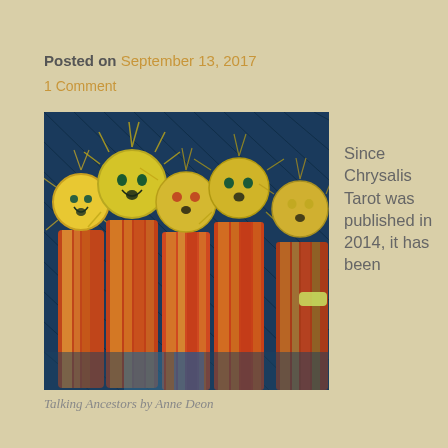Posted on September 13, 2017
1 Comment
[Figure (illustration): Painting titled 'Talking Ancestors by Anne Deon' showing five stylized figures with large round yellow heads and sun-like halos, wearing orange and multicolored robes, set against a dark blue textured background.]
Talking Ancestors by Anne Deon
Since Chrysalis Tarot was published in 2014, it has been